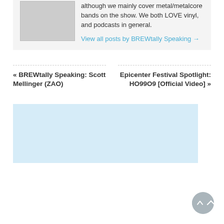although we mainly cover metal/metalcore bands on the show. We both LOVE vinyl, and podcasts in general.
View all posts by BREWtally Speaking →
« BREWtally Speaking: Scott Mellinger (ZAO)
Epicenter Festival Spotlight: HO99O9 [Official Video] »
[Figure (other): Light blue advertisement placeholder box]